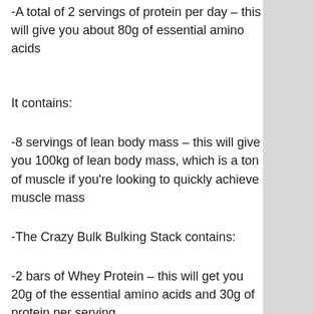-A total of 2 servings of protein per day – this will give you about 80g of essential amino acids
It contains:
-8 servings of lean body mass – this will give you 100kg of lean body mass, which is a ton of muscle if you're looking to quickly achieve muscle mass
-The Crazy Bulk Bulking Stack contains:
-2 bars of Whey Protein – this will get you 20g of the essential amino acids and 30g of protein per serving
-1 serving of whey protein concentrate – this should provide you about 40g of the essential amino acids, which is more than adequate but you'll want to use only the